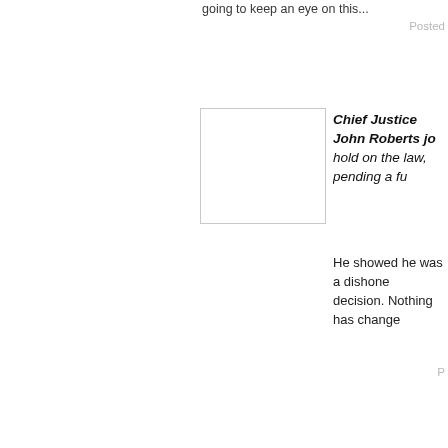going to keep an eye on this...
Posted
[Figure (photo): Blank white square avatar placeholder]
Chief Justice John Roberts jo hold on the law, pending a fu
He showed he was a dishone decision. Nothing has change
P...
[Figure (photo): Profile photo of a person on stairs]
John "FISA Court" Roberts is
Posted
[Figure (photo): Profile photo of a doll figure with hat]
“FISA” is the English translati
[Figure (photo): Profile photo showing two children]
When it comes to our or relent until we have the barriers required to will build that wall one
pic.twitter.com/ZLul7